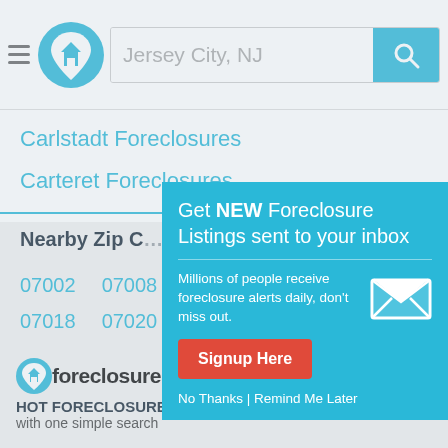Jersey City, NJ — search bar header with logo
Carlstadt Foreclosures
Carteret Foreclosures
Nearby Zip C…
07002  07008  …
07018  07020  …
07030  07031  …
[Figure (screenshot): Popup overlay: Get NEW Foreclosure Listings sent to your inbox. Millions of people receive foreclosure alerts daily, don't miss out. Signup Here button. No Thanks | Remind Me Later]
foreclosure.com HOT FORECLOSURE DEALS with one simple search